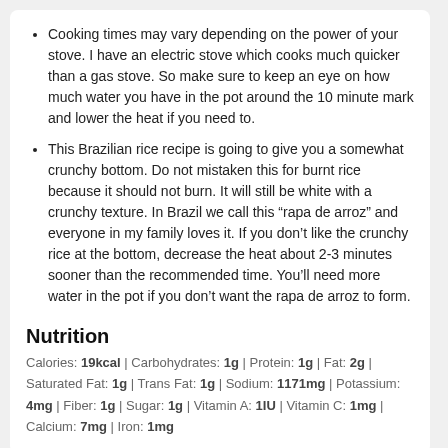Cooking times may vary depending on the power of your stove. I have an electric stove which cooks much quicker than a gas stove. So make sure to keep an eye on how much water you have in the pot around the 10 minute mark and lower the heat if you need to.
This Brazilian rice recipe is going to give you a somewhat crunchy bottom. Do not mistaken this for burnt rice because it should not burn. It will still be white with a crunchy texture. In Brazil we call this “rapa de arroz” and everyone in my family loves it. If you don’t like the crunchy rice at the bottom, decrease the heat about 2-3 minutes sooner than the recommended time. You’ll need more water in the pot if you don’t want the rapa de arroz to form.
Nutrition
Calories: 19kcal | Carbohydrates: 1g | Protein: 1g | Fat: 2g | Saturated Fat: 1g | Trans Fat: 1g | Sodium: 1171mg | Potassium: 4mg | Fiber: 1g | Sugar: 1g | Vitamin A: 1IU | Vitamin C: 1mg | Calcium: 7mg | Iron: 1mg